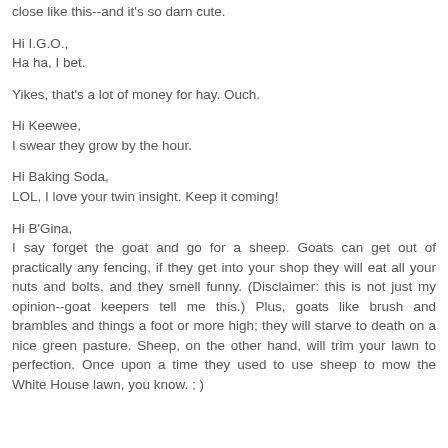close like this--and it's so darn cute.
Hi I.G.O.,
Ha ha, I bet.
Yikes, that's a lot of money for hay. Ouch.
Hi Keewee,
I swear they grow by the hour.
Hi Baking Soda,
LOL, I love your twin insight. Keep it coming!
Hi B'Gina,
I say forget the goat and go for a sheep. Goats can get out of practically any fencing, if they get into your shop they will eat all your nuts and bolts, and they smell funny. (Disclaimer: this is not just my opinion--goat keepers tell me this.) Plus, goats like brush and brambles and things a foot or more high; they will starve to death on a nice green pasture. Sheep, on the other hand, will trim your lawn to perfection. Once upon a time they used to use sheep to mow the White House lawn, you know. ; )